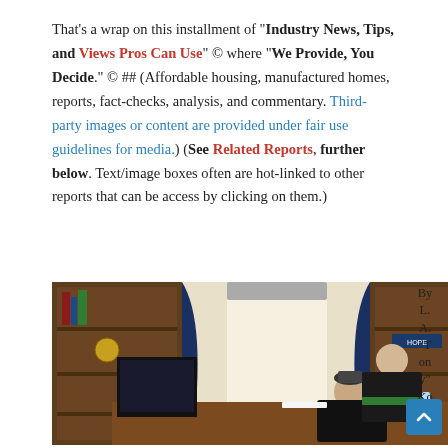That's a wrap on this installment of "Industry News, Tips, and Views Pros Can Use" © where "We Provide, You Decide." © ## (Affordable housing, manufactured homes, reports, fact-checks, analysis, and commentary. Third-party images or content are provided under fair use guidelines for media.) (See Related Reports, further below. Text/image boxes often are hot-linked to other reports that can be access by clicking on them.)
[Figure (photo): Two people in a formal wood-paneled office with bookshelves, blue curtains, and a desk with computer monitors. One person standing behind another seated at the desk.]
By L. A. "Tony" Kovach